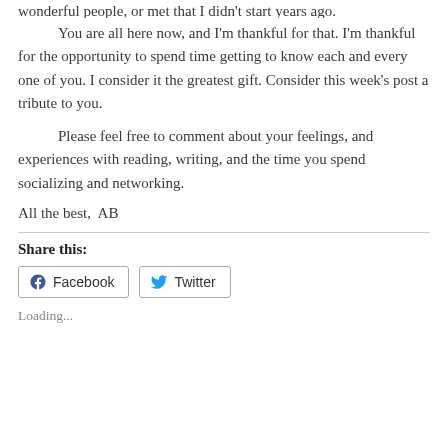wonderful people, or met that I didn't start years ago.
You are all here now, and I'm thankful for that. I'm thankful for the opportunity to spend time getting to know each and every one of you. I consider it the greatest gift. Consider this week's post a tribute to you.
Please feel free to comment about your feelings, and experiences with reading, writing, and the time you spend socializing and networking.
All the best,  AB
Share this:
Loading...